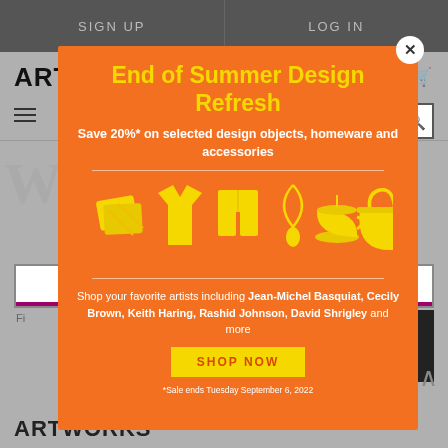SIGN UP | LOG IN
[Figure (screenshot): Artspace website background with logo, hamburger menu, search, cart icons, partial large serif text, search box, and ARTWORKS label]
End of Summer Design Refresh
Save 20%* on selected design objects, homeware and accessories
[Figure (illustration): Five yellow icons on orange background: pillow/cushions, t-shirt, shorts, necklace/pendant, teacup, tote bag]
Shop your favorite artists including Jean-Michel Basquiat, Cecily Brown, Keith Haring, Rashid Johnson, David Shrigley and more
SHOP NOW
*Sale ends Tuesday September 6, 2022